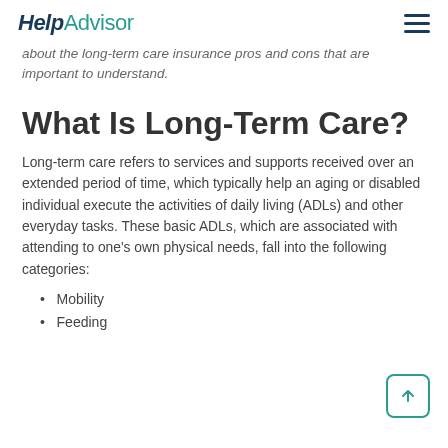HelpAdvisor
about the long-term care insurance pros and cons that are important to understand.
What Is Long-Term Care?
Long-term care refers to services and supports received over an extended period of time, which typically help an aging or disabled individual execute the activities of daily living (ADLs) and other everyday tasks. These basic ADLs, which are associated with attending to one's own physical needs, fall into the following categories:
Mobility
Feeding